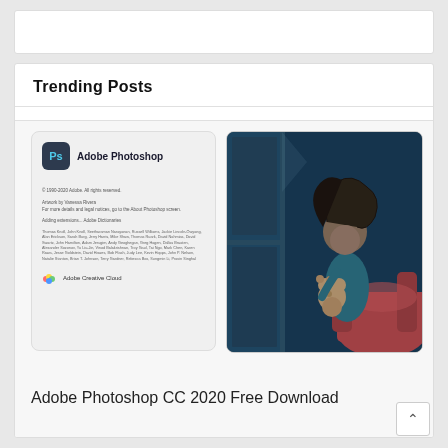Trending Posts
[Figure (screenshot): Adobe Photoshop CC 2020 splash screen screenshot showing PS logo, text credits, and Adobe Creative Cloud branding alongside a photo of a child holding a teddy bear]
Adobe Photoshop CC 2020 Free Download